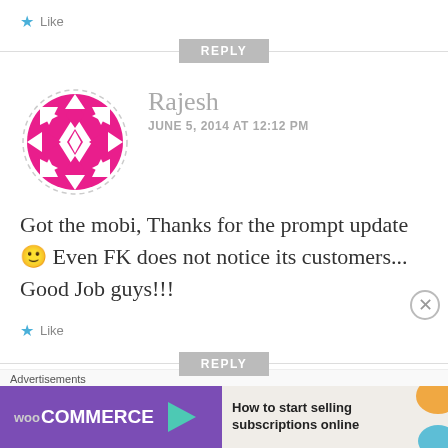★ Like
REPLY
[Figure (illustration): Round avatar with pink/magenta geometric snowflake/diamond pattern on white background]
Rajesh
JUNE 5, 2014 AT 12:12 PM
Got the mobi, Thanks for the prompt update 🙂 Even FK does not notice its customers... Good Job guys!!!
★ Like
REPLY
[Figure (logo): WooCommerce advertisement banner: purple background with WooCommerce logo and arrow, beside text 'How to start selling subscriptions online' with orange and teal decorative shapes]